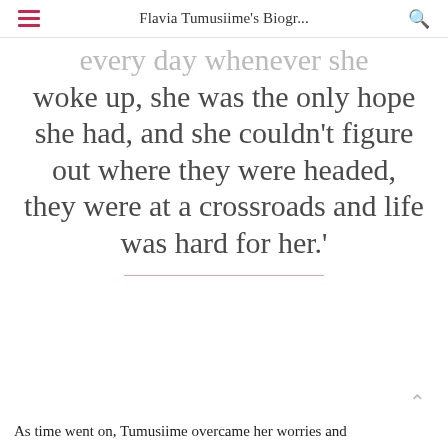Flavia Tumusiime's Biogr...
every day whenever she woke up, she was the only hope she had, and she couldn’t figure out where they were headed, they were at a crossroads and life was hard for her.’
As time went on, Tumusiime overcame her worries and